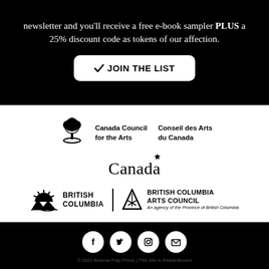newsletter and you'll receive a free e-book sampler PLUS a 25% discount code as tokens of our affection.
[Figure (illustration): White rounded rectangle button with checkmark icon and bold text 'JOIN THE LIST' on black background]
[Figure (logo): Canada Council for the Arts / Conseil des Arts du Canada logo with stylized tree icon and bilingual text]
[Figure (logo): Canada wordmark with flag symbol above the letter 'a']
[Figure (logo): British Columbia logo with sun/mountain icon and British Columbia Arts Council logo with triangle icon]
[Figure (illustration): Four white social media icons on black background: Facebook, Twitter, Instagram, Email/envelope]
© 2022 Arsenal Pulp Press | This site is ReaderBound